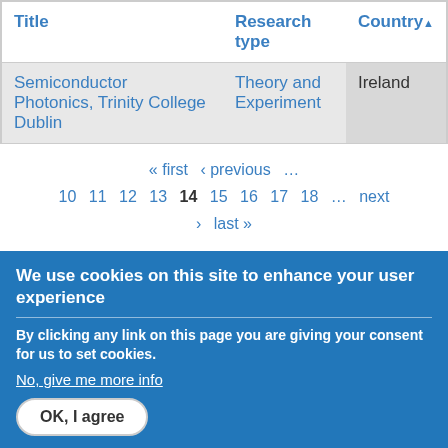| Title | Research type | Country▲ |
| --- | --- | --- |
| Semiconductor Photonics, Trinity College Dublin | Theory and Experiment | Ireland |
« first ‹ previous … 10 11 12 13 14 15 16 17 18 … next › last »
We use cookies on this site to enhance your user experience
By clicking any link on this page you are giving your consent for us to set cookies.
No, give me more info
OK, I agree